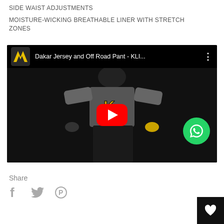SIDE WAIST ADJUSTMENTS
MOISTURE-WICKING BREATHABLE LINER WITH STRETCH ZONES
[Figure (screenshot): YouTube video thumbnail showing Dakar Jersey and Off Road Pant - KLI... with a rider wearing grey and black motocross gear against a dark background. Red play button in center. WhatsApp green button overlay on right side. KLIM logo in top-left of video bar.]
Share
[Figure (other): Social share icons: Facebook (f), Twitter (bird), Pinterest (P circle)]